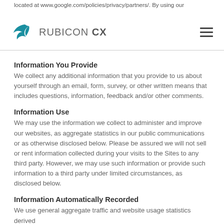located at www.google.com/policies/privacy/partners/. By using our
[Figure (logo): Rubicon CX logo with teal swoosh/bird mark and gray uppercase text]
Information You Provide
We collect any additional information that you provide to us about yourself through an email, form, survey, or other written means that includes questions, information, feedback and/or other comments.
Information Use
We may use the information we collect to administer and improve our websites, as aggregate statistics in our public communications or as otherwise disclosed below. Please be assured we will not sell or rent information collected during your visits to the Sites to any third party. However, we may use such information or provide such information to a third party under limited circumstances, as disclosed below.
Information Automatically Recorded
We use general aggregate traffic and website usage statistics derived